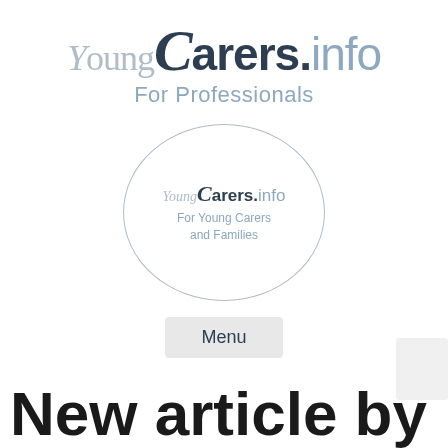[Figure (logo): YoungCarers.info For Professionals logo at top of page]
[Figure (logo): YoungCarers.info For Young Carers and Families logo inside oval border]
[Figure (other): Menu button]
New article by